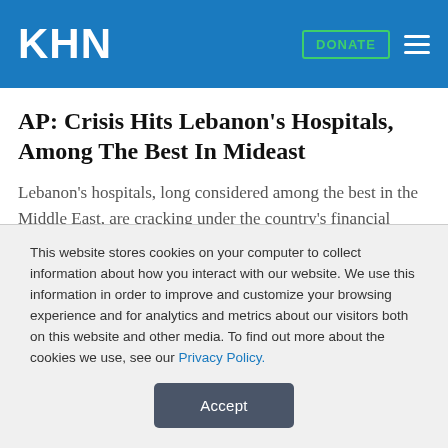KHN
AP: Crisis Hits Lebanon's Hospitals, Among The Best In Mideast
Lebanon's hospitals, long considered among the best in the Middle East, are cracking under the country's financial crisis, struggling to pay staff, keep equipment running or even stay open amid a surge in coronavirus cases. Private hospitals, the engine of the health system, warn they may have to shut down. Chronically underfunded public hospitals, which have led the fight against the virus, fear they will be overrun. (El Deeb, 7/22)
This website stores cookies on your computer to collect information about how you interact with our website. We use this information in order to improve and customize your browsing experience and for analytics and metrics about our visitors both on this website and other media. To find out more about the cookies we use, see our Privacy Policy.
Accept